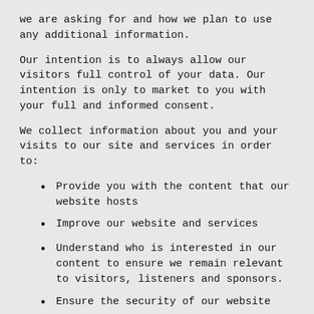we are asking for and how we plan to use any additional information.
Our intention is to always allow our visitors full control of your data. Our intention is only to market to you with your full and informed consent.
We collect information about you and your visits to our site and services in order to:
Provide you with the content that our website hosts
Improve our website and services
Understand who is interested in our content to ensure we remain relevant to visitors, listeners and sponsors.
Ensure the security of our website
Send you more relevant content generally, using anonymous or pseudonymized personal data, and